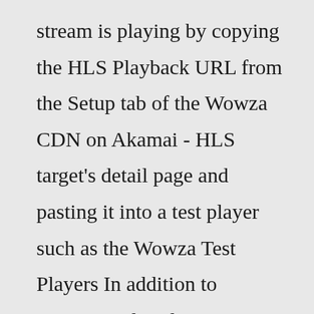stream is playing by copying the HLS Playback URL from the Setup tab of the Wowza CDN on Akamai - HLS target's detail page and pasting it into a test player such as the Wowza Test Players In addition to supporting low-latency DASH, Akamai now supports low-latency HLS (LL-HLS) Use the HLS playback URL to play the stream in a … test your ll-hls stream if you are streaming on any apple platform you are